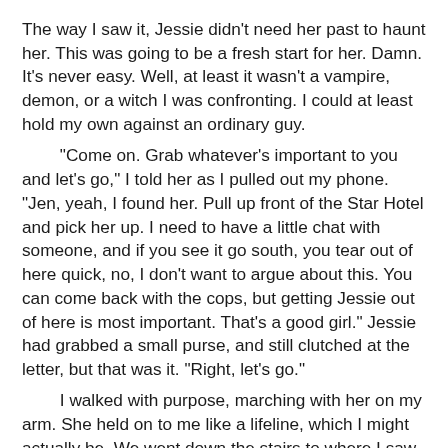The way I saw it, Jessie didn't need her past to haunt her. This was going to be a fresh start for her. Damn. It's never easy. Well, at least it wasn't a vampire, demon, or a witch I was confronting. I could at least hold my own against an ordinary guy.
	"Come on. Grab whatever's important to you and let's go," I told her as I pulled out my phone. "Jen, yeah, I found her. Pull up front of the Star Hotel and pick her up. I need to have a little chat with someone, and if you see it go south, you tear out of here quick, no, I don't want to argue about this. You can come back with the cops, but getting Jessie out of here is most important. That's a good girl." Jessie had grabbed a small purse, and still clutched at the letter, but that was it. "Right, let's go."
	I walked with purpose, marching with her on my arm. She held on to me like a lifeline, which I might actually be. We went down the stairs to where I saw the Weasel. I kept Jessie away from us, and told him, "I'd like to see DJ in his office outside next to the dumpster." Yeah, I could have been civil about it, but the guy hit teenage girls and threatened families. That was decidedly low in my book. The Weasel gasped as we continued walking down the stairs and out the